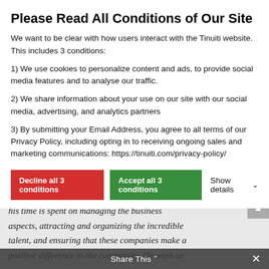Please Read All Conditions of Our Site
We want to be clear with how users interact with the Tinuiti website. This includes 3 conditions:
1) We use cookies to personalize content and ads, to provide social media features and to analyse our traffic.
2) We share information about your use on our site with our social media, advertising, and analytics partners
3) By submitting your Email Address, you agree to all terms of our Privacy Policy, including opting in to receiving ongoing sales and marketing communications: https://tinuiti.com/privacy-policy/
Decline all 3 conditions | Accept all 3 conditions | Show details
an increasing amount of his time is spent on managing the business aspects, attracting and organizing the incredible talent, and ensuring that these companies make a positive difference in the community. He work as
Share This ×